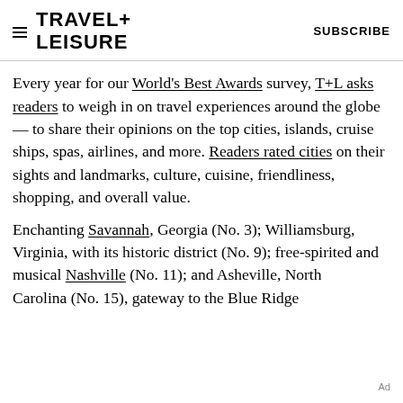TRAVEL+ LEISURE   SUBSCRIBE
Every year for our World's Best Awards survey, T+L asks readers to weigh in on travel experiences around the globe — to share their opinions on the top cities, islands, cruise ships, spas, airlines, and more. Readers rated cities on their sights and landmarks, culture, cuisine, friendliness, shopping, and overall value.
Enchanting Savannah, Georgia (No. 3); Williamsburg, Virginia, with its historic district (No. 9); free-spirited and musical Nashville (No. 11); and Asheville, North Carolina (No. 15), gateway to the Blue Ridge…
Ad